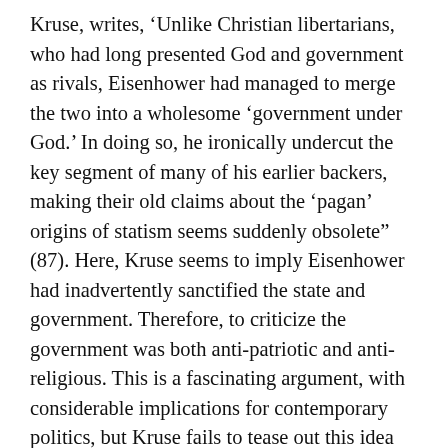Kruse, writes, 'Unlike Christian libertarians, who had long presented God and government as rivals, Eisenhower had managed to merge the two into a wholesome 'government under God.' In doing so, he ironically undercut the key segment of many of his earlier backers, making their old claims about the 'pagan' origins of statism seems suddenly obsolete" (87). Here, Kruse seems to imply Eisenhower had inadvertently sanctified the state and government. Therefore, to criticize the government was both anti-patriotic and anti-religious. This is a fascinating argument, with considerable implications for contemporary politics, but Kruse fails to tease out this idea before moving on to other issues.
Kruse maintains that the religious unity sought by Eisenhower was challenged in the late 1950s and the 1960s as various faiths worried that state advocacy of religion might trample on traditional beliefs and